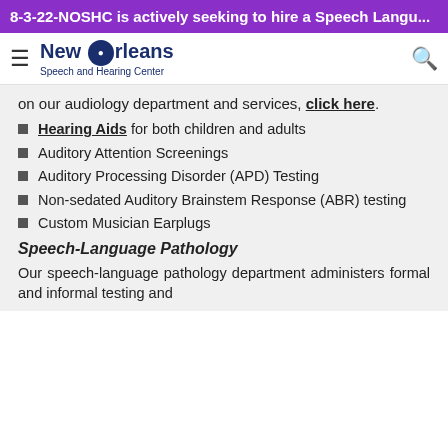8-3-22-NOSHC is actively seeking to hire a Speech Langu...
[Figure (logo): New Orleans Speech and Hearing Center logo with hamburger menu and search icon]
on our audiology department and services, click here.
Hearing Aids for both children and adults
Auditory Attention Screenings
Auditory Processing Disorder (APD) Testing
Non-sedated Auditory Brainstem Response (ABR) testing
Custom Musician Earplugs
Speech-Language Pathology
Our speech-language pathology department administers formal and informal testing and